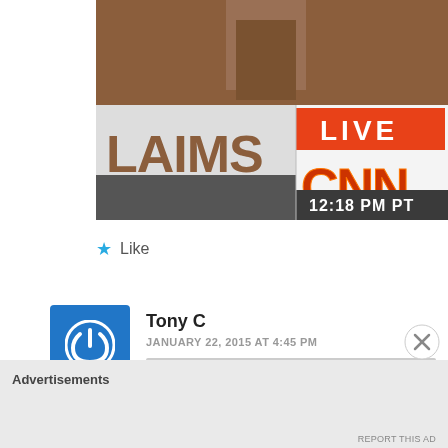[Figure (screenshot): CNN Live broadcast screenshot showing 'LAIMS' text on left, CNN logo on right with orange gradient, LIVE banner in red/orange top right, and '12:18 PM PT' timestamp at bottom right]
★ Like
Tony C
JANUARY 22, 2015 AT 4:45 PM
Advertisements